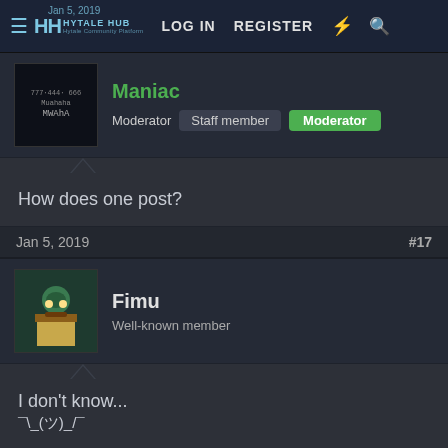Hytale Hub | LOG IN | REGISTER
Maniac
Moderator  Staff member  Moderator
How does one post?
Jan 5, 2019  #17
Fimu
Well-known member
I don't know...
¯\_(ツ)_/¯
Jan 5, 2019  #18